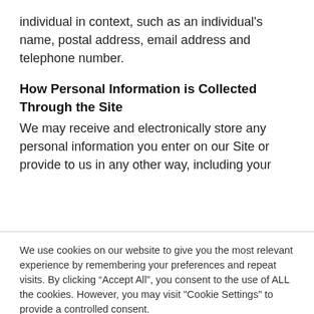individual in context, such as an individual's name, postal address, email address and telephone number.
How Personal Information is Collected Through the Site
We may receive and electronically store any personal information you enter on our Site or provide to us in any other way, including your
We use cookies on our website to give you the most relevant experience by remembering your preferences and repeat visits. By clicking “Accept All”, you consent to the use of ALL the cookies. However, you may visit "Cookie Settings" to provide a controlled consent.